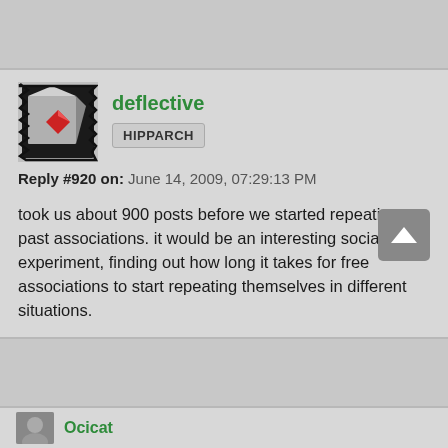deflective
HIPPARCH
Reply #920 on: June 14, 2009, 07:29:13 PM
took us about 900 posts before we started repeating past associations.  it would be an interesting social experiment, finding out how long it takes for free associations to start repeating themselves in different situations.
Ocicat